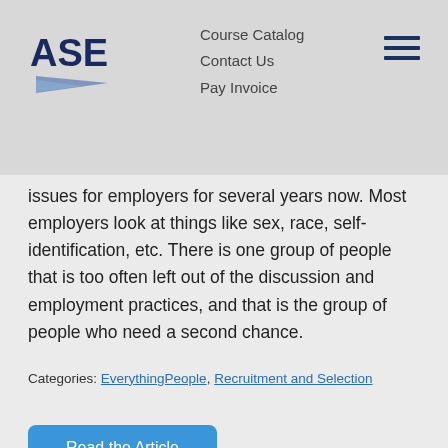ASE | Course Catalog | Contact Us | Pay Invoice
issues for employers for several years now. Most employers look at things like sex, race, self-identification, etc. There is one group of people that is too often left out of the discussion and employment practices, and that is the group of people who need a second chance.
Categories: EverythingPeople, Recruitment and Selection
Read the Article